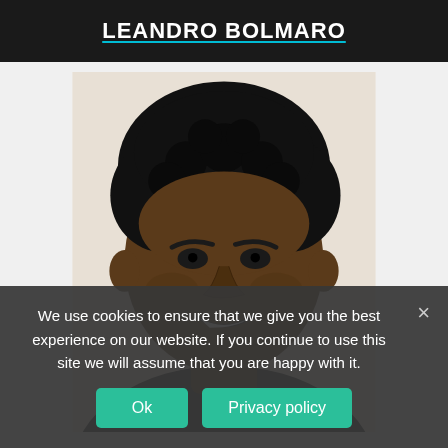LEANDRO BOLMARO
[Figure (photo): Headshot photo of Leandro Bolmaro, a basketball player with short curly hair, smiling, wearing a dark jersey]
We use cookies to ensure that we give you the best experience on our website. If you continue to use this site we will assume that you are happy with it.
Ok
Privacy policy